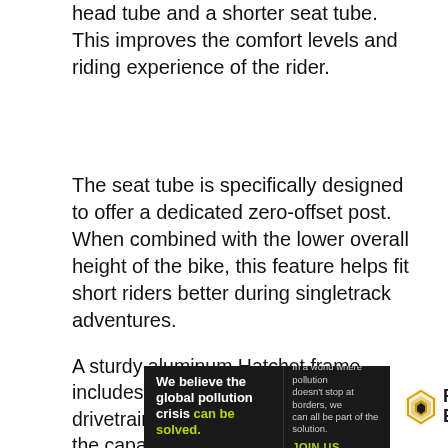head tube and a shorter seat tube. This improves the comfort levels and riding experience of the rider.
The seat tube is specifically designed to offer a dedicated zero-offset post. When combined with the lower overall height of the bike, this feature helps fit short riders better during singletrack adventures.
A sturdy aluminum Hatchet frame includes the use of the SRAM Apex drivetrain system as well. This boosts the capacity and durability of this bike.
[Figure (other): Advertisement banner for Pure Earth organization. Dark background on left with bold white text reading 'We believe the global pollution crisis can be solved.' with 'can be solved.' in green/yellow. Middle section has small text 'In a world where pollution doesn't stop at borders, we can all be part of the solution.' with 'JOIN US.' in green. Right section has white background with Pure Earth logo (diamond/chevron shape in gold/yellow) and bold text 'PURE EARTH'.]